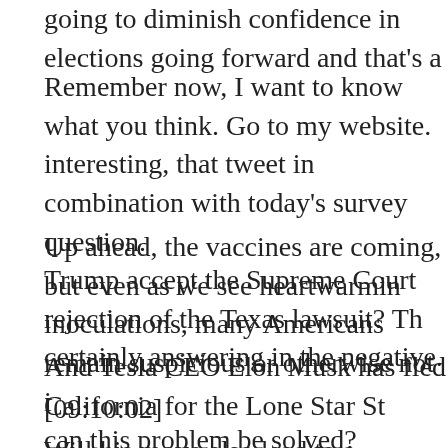going to diminish confidence in elections going forward and that's a
Remember now, I want to know what you think. Go to my website. interesting, that tweet in combination with today's survey question. Trump accept the Supreme Court rejection of the Texas lawsuit? Th certainly answering in the negative.
Up ahead, the vaccines are coming, but even as we see heartwarmin inoculations, many Americans remain suspicious or otherwise not i can this problem be solved?
And Tesla CEO Elon Musk has fled California for the Lone Star St
[09:10:02]
Will his move also lead to a corresponding demographic shift amor